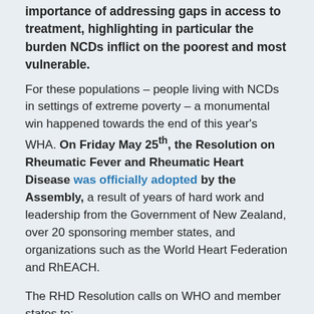importance of addressing gaps in access to treatment, highlighting in particular the burden NCDs inflict on the poorest and most vulnerable.
For these populations – people living with NCDs in settings of extreme poverty – a monumental win happened towards the end of this year's WHA. On Friday May 25th, the Resolution on Rheumatic Fever and Rheumatic Heart Disease was officially adopted by the Assembly, a result of years of hard work and leadership from the Government of New Zealand, over 20 sponsoring member states, and organizations such as the World Heart Federation and RhEACH.
The RHD Resolution calls on WHO and member states to:
Strengthen data collection and better address the